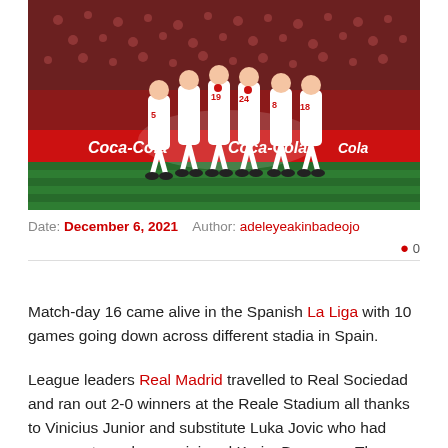[Figure (photo): Football players in white jerseys celebrating on a green pitch with a red stadium background and Coca-Cola advertising boards]
Date: December 6, 2021   Author: adeleyeakinbadeojo
● 0
Match-day 16 came alive in the Spanish La Liga with 10 games going down across different stadia in Spain.
League leaders Real Madrid travelled to Real Sociedad and ran out 2-0 winners at the Reale Stadium all thanks to Vinicius Junior and substitute Luka Jovic who had come on to replace an injured Karim Benzema. The